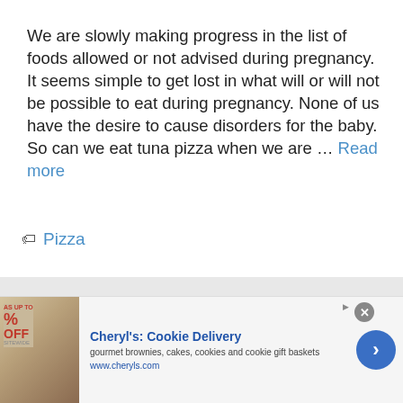We are slowly making progress in the list of foods allowed or not advised during pregnancy. It seems simple to get lost in what will or will not be possible to eat during pregnancy. None of us have the desire to cause disorders for the baby. So can we eat tuna pizza when we are … Read more
🏷 Pizza
Can hot tuna pizza...
[Figure (other): Advertisement banner for Cheryl's Cookie Delivery showing gourmet brownies, cakes, cookies and cookie gift baskets with website www.cheryls.com]